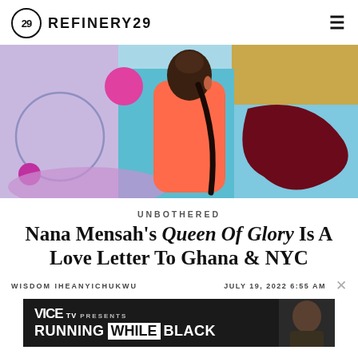REFINERY29
[Figure (photo): Hero image of a smiling woman in a coral/salmon sleeveless top with braided hair, standing in front of a colorful abstract illustrated background with teal, purple, magenta circles, and dark maroon organic shapes.]
UNBOTHERED
Nana Mensah's Queen Of Glory Is A Love Letter To Ghana & NYC
WISDOM IHEANYICHUKWU    JULY 19, 2022 6:55 AM
[Figure (screenshot): Advertisement banner: VICE TV PRESENTS — RUNNING WHILE BLACK, dark background with a photo of a man.]